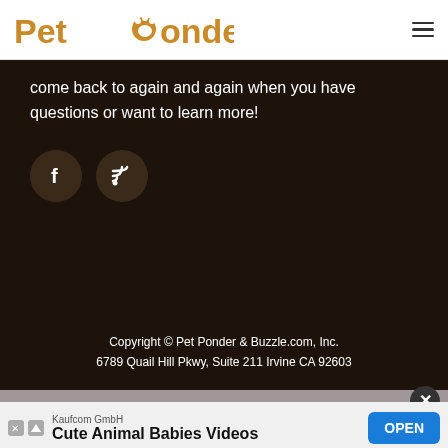PetPonder
come back to again and again when you have questions or want to learn more!
[Figure (logo): Facebook icon circle button]
[Figure (logo): RSS feed icon circle button]
Copyright © Pet Ponder & Buzzle.com, Inc.
6789 Quail Hill Pkwy, Suite 211 Irvine CA 92603
Privacy Policy
Terms of Use
Contact Us
[Figure (screenshot): Advertisement: Kaufcom GmbH - Cute Animal Babies Videos - OPEN button]